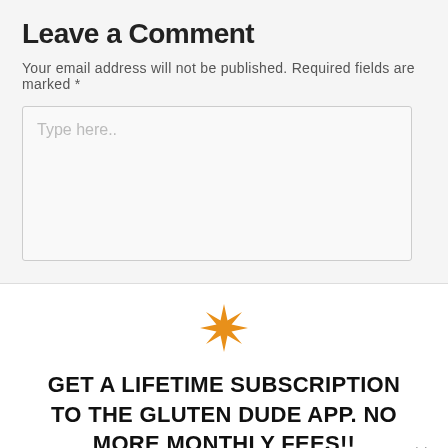Leave a Comment
Your email address will not be published. Required fields are marked *
[Figure (other): Comment text input area with placeholder text 'Type here..']
[Figure (illustration): Orange 8-pointed star/asterisk decorative icon]
GET A LIFETIME SUBSCRIPTION TO THE GLUTEN DUDE APP. NO MORE MONTHLY FEES!!
DETAILS button (orange rounded button)